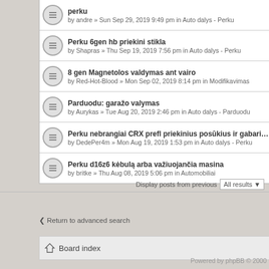perku — by andre » Sun Sep 29, 2019 9:49 pm in Auto dalys - Perku
Perku 6gen hb priekini stikla — by Shapras » Thu Sep 19, 2019 7:56 pm in Auto dalys - Perku
8 gen Magnetolos valdymas ant vairo — by Red-Hot-Blood » Mon Sep 02, 2019 8:14 pm in Modifikavimas
Parduodu: garažo valymas — by Aurykas » Tue Aug 20, 2019 2:46 pm in Auto dalys - Parduodu
Perku nebrangiai CRX prefl priekinius posūkius ir gabaritus — by DedePer4m » Mon Aug 19, 2019 1:53 pm in Auto dalys - Perku
Perku d16z6 kėbulą arba važiuojančia masina — by britke » Thu Aug 08, 2019 5:06 pm in Automobiliai
Display posts from previous All results
Return to advanced search
Board index
Powered by phpBB © 2000